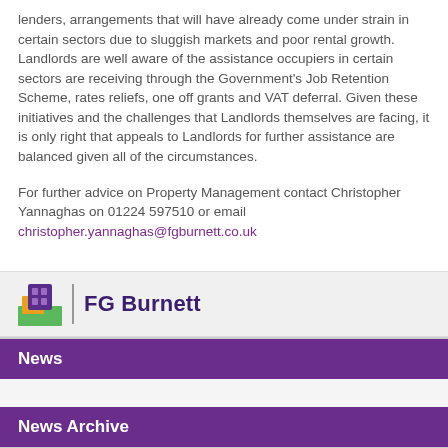lenders, arrangements that will have already come under strain in certain sectors due to sluggish markets and poor rental growth. Landlords are well aware of the assistance occupiers in certain sectors are receiving through the Government’s Job Retention Scheme, rates reliefs, one off grants and VAT deferral. Given these initiatives and the challenges that Landlords themselves are facing, it is only right that appeals to Landlords for further assistance are balanced given all of the circumstances.
For further advice on Property Management contact Christopher Yannaghas on 01224 597510 or email christopher.yannaghas@fgburnett.co.uk
[Figure (logo): FG Burnett logo with coloured building icon and company name in dark purple text]
News
News Archive